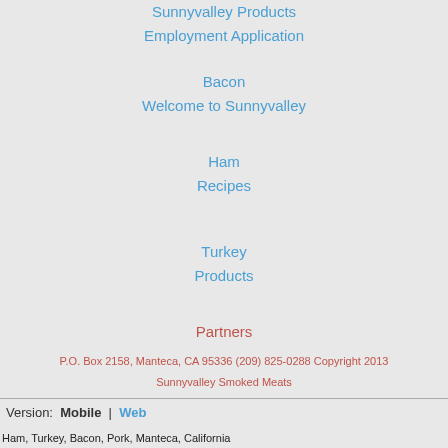Sunnyvalley Products
Employment Application
Bacon
Welcome to Sunnyvalley
Ham
Recipes
Turkey
Products
Partners
P.O. Box 2158, Manteca, CA 95336 (209) 825-0288 Copyright 2013 Sunnyvalley Smoked Meats
Version:  Mobile  |  Web
Ham, Turkey, Bacon, Pork, Manteca, California